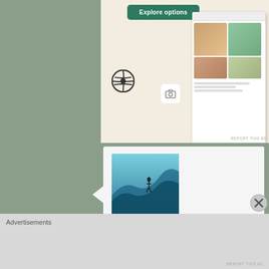[Figure (screenshot): WordPress/e-commerce ad with 'Explore options' green button, WordPress logo, camera icon, and food website screenshot on beige background]
[Figure (photo): El Guapo user avatar: a surfer riding a large ocean wave]
El Guapo on August 30, 2013 at 8:44 PM said:
I feel your pain.
right now I'm dealig with a
corporate srvice our business
uses, and i'm impressed that my
Advertisements
REPORT THIS AD